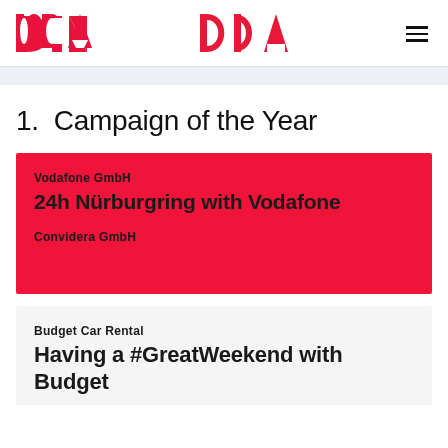DCA [logo] | hamburger menu
1.  Campaign of the Year
Vodafone GmbH
24h Nürburgring with Vodafone
Convidera GmbH
Budget Car Rental
Having a #GreatWeekend with Budget